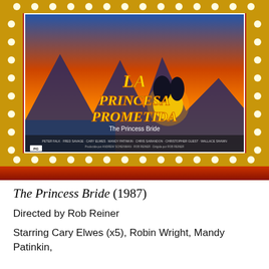[Figure (photo): Movie poster for La Princesa Prometida (The Princess Bride) displayed on a theater marquee with red background and gold lights. The poster shows two silhouetted figures against a sunset with mountains, with the title in yellow letters.]
The Princess Bride (1987)
Directed by Rob Reiner
Starring Cary Elwes (x5), Robin Wright, Mandy Patinkin,